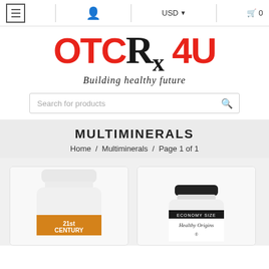≡  👤  USD▼  🛒 0
[Figure (logo): OTCRx4U logo with tagline 'Building healthy future']
[Figure (screenshot): Search bar with placeholder text 'Search for products' and search icon]
MULTIMINERALS
Home / Multiminerals / Page 1 of 1
[Figure (photo): Product bottle - 21st Century supplement bottle with orange label]
[Figure (photo): Product bottle - Healthy Origins supplement bottle, Economy Size, with black cap]